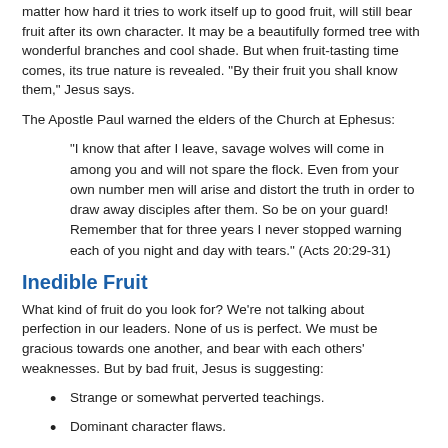matter how hard it tries to work itself up to good fruit, will still bear fruit after its own character. It may be a beautifully formed tree with wonderful branches and cool shade. But when fruit-tasting time comes, its true nature is revealed. "By their fruit you shall know them," Jesus says.
The Apostle Paul warned the elders of the Church at Ephesus:
"I know that after I leave, savage wolves will come in among you and will not spare the flock. Even from your own number men will arise and distort the truth in order to draw away disciples after them. So be on your guard! Remember that for three years I never stopped warning each of you night and day with tears." (Acts 20:29-31)
Inedible Fruit
What kind of fruit do you look for? We’re not talking about perfection in our leaders. None of us is perfect. We must be gracious towards one another, and bear with each others’ weaknesses. But by bad fruit, Jesus is suggesting:
Strange or somewhat perverted teachings.
Dominant character flaws.
Actions and attitudes that don't conform to what you expect of a Christian leader.